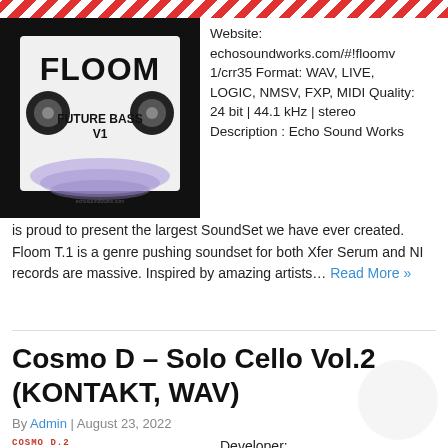[Figure (photo): Product image of Floom Future Bass V1 with logo showing two speaker icons and decorative background]
Website: echosoundworks.com/#!floomv1/crr35 Format: WAV, LIVE, LOGIC, NMSV, FXP, MIDI Quality: 24 bit | 44.1 kHz | stereo Description : Echo Sound Works
is proud to present the largest SoundSet we have ever created. Floom T.1 is a genre pushing soundset for both Xfer Serum and NI records are massive. Inspired by amazing artists… Read More »
Cosmo D – Solo Cello Vol.2 (KONTAKT, WAV)
By Admin | August 23, 2022
[Figure (photo): Cosmo D Solo Cello product image with red pixelated title text]
Developer: